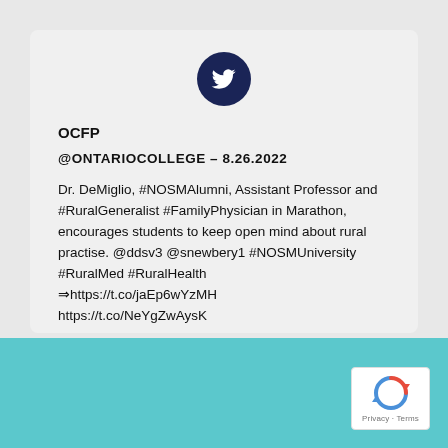[Figure (logo): Twitter bird logo in dark navy circle]
OCFP
@ONTARIOCOLLEGE – 8.26.2022
Dr. DeMiglio, #NOSMAlumni, Assistant Professor and #RuralGeneralist #FamilyPhysician in Marathon, encourages students to keep open mind about rural practise. @ddsv3 @snewbery1 #NOSMUniversity #RuralMed #RuralHealth ⇒https://t.co/jaEp6wYzMH https://t.co/NeYgZwAysK
[Figure (logo): reCAPTCHA badge with Privacy and Terms text]